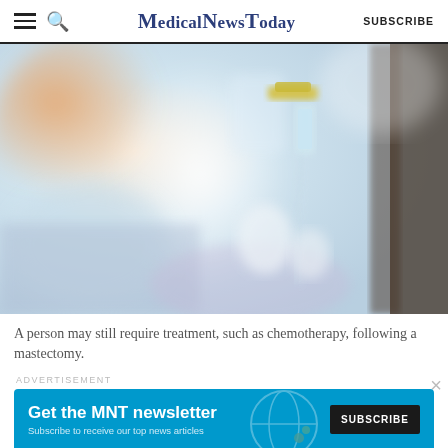MedicalNewsToday
[Figure (photo): Close-up of an IV drip bag and tubing in a clinical/hospital setting, with blurred background showing medical equipment. Warm orange light visible in background.]
A person may still require treatment, such as chemotherapy, following a mastectomy.
ADVERTISEMENT
[Figure (infographic): MNT newsletter subscription advertisement banner with teal/blue background. Text: Get the MNT newsletter. Subscribe to receive our top news articles. SUBSCRIBE button in dark background.]